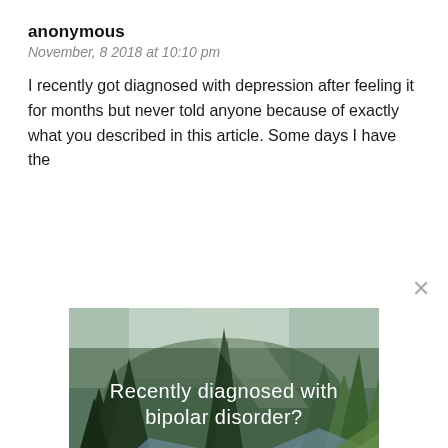anonymous
November, 8 2018 at 10:10 pm
I recently got diagnosed with depression after feeling it for months but never told anyone because of exactly what you described in this article. Some days I have the
[Figure (photo): Forest landscape with trees and a stream, overlaid with text: 'Recently diagnosed with bipolar disorder? DOWNLOAD OUR FREE EBOOK NOW.' with a decorative underline.]
advertisement